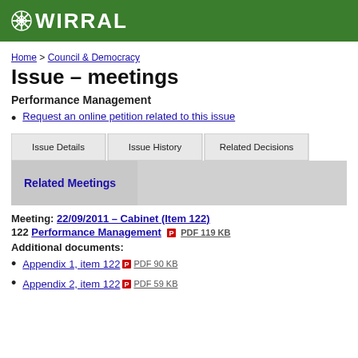WIRRAL
Home > Council & Democracy
Issue – meetings
Performance Management
Request an online petition related to this issue
Related Meetings
Meeting: 22/09/2011 – Cabinet (Item 122)
122 Performance Management PDF 119 KB
Additional documents:
Appendix 1, item 122 PDF 90 KB
Appendix 2, item 122 PDF 59 KB